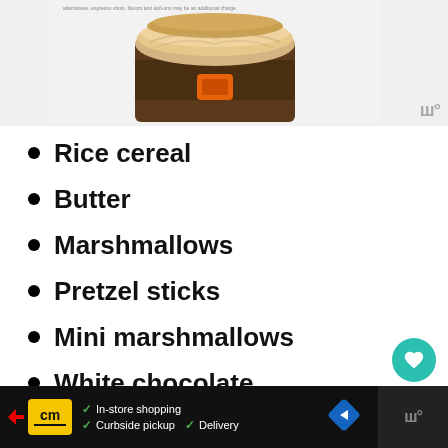[Figure (photo): A cold coffee drink in a clear cup with cream/foam on top and a golden crumb topping, partially visible from the top portion of the cup. Small orange logo visible on the cup sleeve.]
Rice cereal
Butter
Marshmallows
Pretzel sticks
Mini marshmallows
White chocolate
WHAT'S NEXT → Rice Krispie Christmas...
✓ In-store shopping  ✓ Curbside pickup  ✓ Delivery